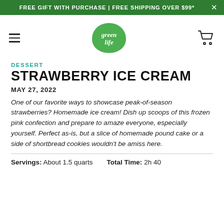FREE GIFT WITH PURCHASE | FREE SHIPPING OVER $99*
[Figure (logo): Green Life logo — green leaf/teardrop shape with 'green life' text in white script]
DESSERT
STRAWBERRY ICE CREAM
MAY 27, 2022
One of our favorite ways to showcase peak-of-season strawberries? Homemade ice cream! Dish up scoops of this frozen pink confection and prepare to amaze everyone, especially yourself. Perfect as-is, but a slice of homemade pound cake or a side of shortbread cookies wouldn't be amiss here.
Servings: About 1.5 quarts    Total Time: 2h 40